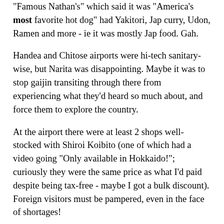"Famous Nathan's" which said it was "America's most favorite hot dog" had Yakitori, Jap curry, Udon, Ramen and more - ie it was mostly Jap food. Gah.
Handea and Chitose airports were hi-tech sanitary-wise, but Narita was disappointing. Maybe it was to stop gaijin transiting through there from experiencing what they'd heard so much about, and force them to explore the country.
At the airport there were at least 2 shops well-stocked with Shiroi Koibito (one of which had a video going "Only available in Hokkaido!"; curiously they were the same price as what I'd paid despite being tax-free - maybe I got a bulk discount). Foreign visitors must be pampered, even in the face of shortages!
They had "Kamikaze", "Ninja" and "Ichiban" baseball caps, but I decided that my Kamikaze headband was more impressive than a mere cap.
They were selling Crystal Geyser water for some reason. Maybe it's because they idolise the Americans. Then again